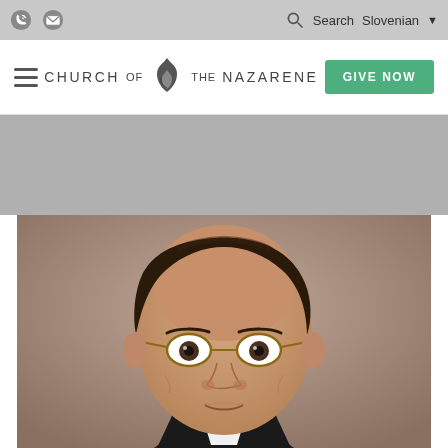Church of the Nazarene website header with utility bar, navigation, logo, and Give Now button
[Figure (photo): Portrait photo of a middle-aged man with round tortoiseshell glasses, balding head with dark hair on sides, wearing a suit. Neutral/mauve background.]